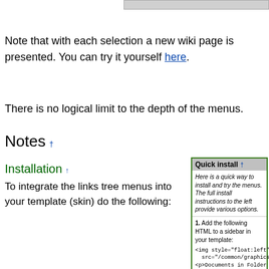Note that with each selection a new wiki page is presented. You can try it yourself here.
There is no logical limit to the depth of the menus.
Notes †
Installation †
To integrate the links tree menus into your template (skin) do the following:
Quick install †
Here is a quick way to install and try the menus. The full install instructions to the left provide various options.
1. Add the following HTML to a sidebar in your template:
<img style="float:left"
   src="/common/graphics/document.gif"
<p>Documents in Folder $Group:</p>